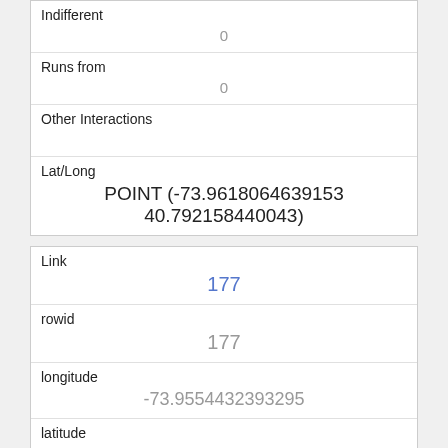| Field | Value |
| --- | --- |
| Indifferent | 0 |
| Runs from | 0 |
| Other Interactions |  |
| Lat/Long | POINT (-73.9618064639153 40.792158440043) |
| Field | Value |
| --- | --- |
| Link | 177 |
| rowid | 177 |
| longitude | -73.9554432393295 |
| latitude | 40.794566905444896 |
| Unique Squirrel ID | 37F-PM-1014-01 |
| Hectare |  |